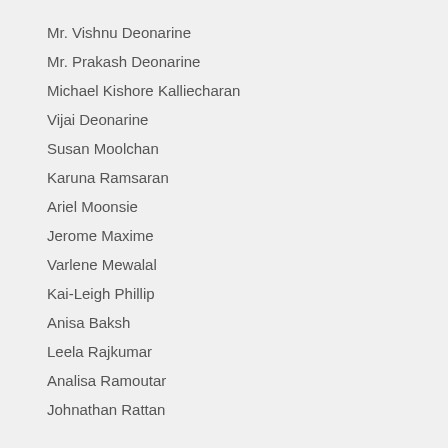Mr. Vishnu Deonarine
Mr. Prakash Deonarine
Michael Kishore Kalliecharan
Vijai Deonarine
Susan Moolchan
Karuna Ramsaran
Ariel Moonsie
Jerome Maxime
Varlene Mewalal
Kai-Leigh Phillip
Anisa Baksh
Leela Rajkumar
Analisa Ramoutar
Johnathan Rattan